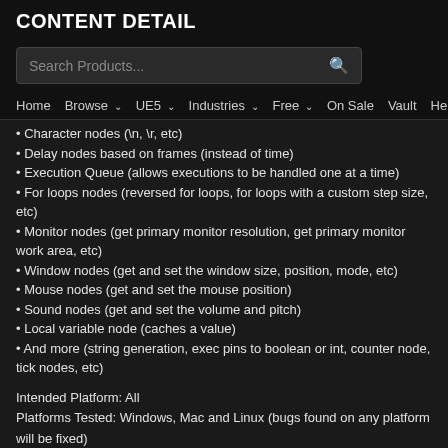CONTENT DETAIL
[Figure (screenshot): Search bar with placeholder text 'Search Products...' and a search icon]
Home  Browse ∨  UE5 ∨  Industries ∨  Free ∨  On Sale  Vault  Help
Character nodes (\n, \r, etc)
Delay nodes based on frames (instead of time)
Execution Queue (allows executions to be handled one at a time)
For loops nodes (reversed for loops, for loops with a custom step size, etc)
Monitor nodes (get primary monitor resolution, get primary monitor work area, etc)
Window nodes (get and set the window size, position, mode, etc)
Mouse nodes (get and set the mouse position)
Sound nodes (get and set the volume and pitch)
Local variable node (caches a value)
And more (string generation, exec pins to boolean or int, counter node, tick nodes, etc)
Intended Platform: All
Platforms Tested: Windows, Mac and Linux (bugs found on any platform will be fixed)